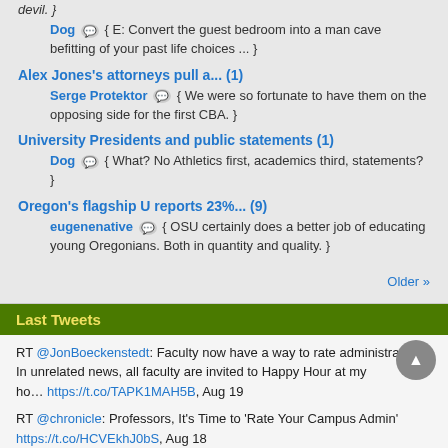devil. }
Dog { E: Convert the guest bedroom into a man cave befitting of your past life choices ... }
Alex Jones's attorneys pull a... (1)
Serge Protektor { We were so fortunate to have them on the opposing side for the first CBA. }
University Presidents and public statements (1)
Dog { What? No Athletics first, academics third, statements? }
Oregon's flagship U reports 23%... (9)
eugenenative { OSU certainly does a better job of educating young Oregonians. Both in quantity and quality. }
Older »
Last Tweets
RT @JonBoeckenstedt: Faculty now have a way to rate administrators. In unrelated news, all faculty are invited to Happy Hour at my ho.... https://t.co/TAPK1MAH5B, Aug 19
RT @chronicle: Professors, It's Time to 'Rate Your Campus Admin' https://t.co/HCVEkhJ0bS, Aug 18
Ducks may lose $13M annual media revenue from PAC-12 troubles